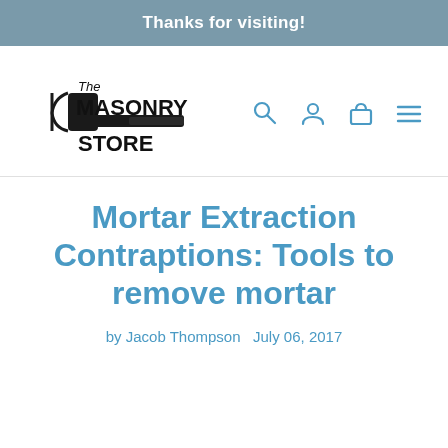Thanks for visiting!
[Figure (logo): The Masonry Store logo with hammer graphic]
[Figure (other): Navigation icons: search, user, cart, menu]
Mortar Extraction Contraptions: Tools to remove mortar
by Jacob Thompson  July 06, 2017